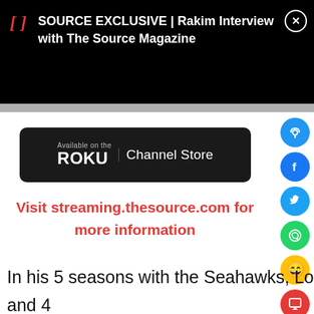SOURCE EXCLUSIVE | Rakim Interview with The Source Magazine
[Figure (screenshot): Roku Channel Store badge - black rounded rectangle with Roku logo and text 'Available on the Channel Store']
Visit streaming.thesource.com for more information
In his 5 seasons with the Seahawks, Lockey raked in 22 catches for 451 yards and 4